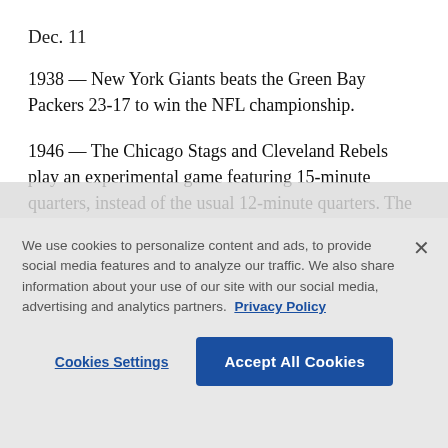Dec. 11
1938 — New York Giants beats the Green Bay Packers 23-17 to win the NFL championship.
1946 — The Chicago Stags and Cleveland Rebels play an experimental game featuring 15-minute quarters, instead of the usual 12-minute quarters. The Stags beat the Rebels 88-70.
1949 — Johnny Lujack of the Chicago Bears passes for
We use cookies to personalize content and ads, to provide social media features and to analyze our traffic. We also share information about your use of our site with our social media, advertising and analytics partners. Privacy Policy
Cookies Settings
Accept All Cookies